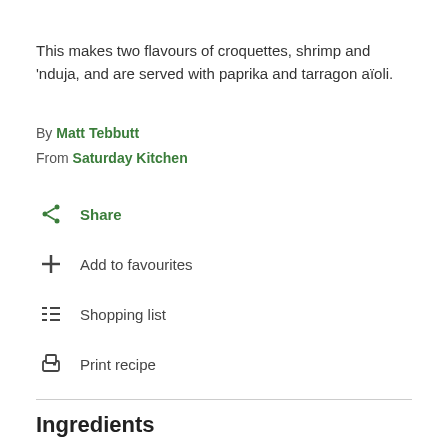This makes two flavours of croquettes, shrimp and 'nduja, and are served with paprika and tarragon aïoli.
By Matt Tebbutt
From Saturday Kitchen
Share
Add to favourites
Shopping list
Print recipe
Ingredients